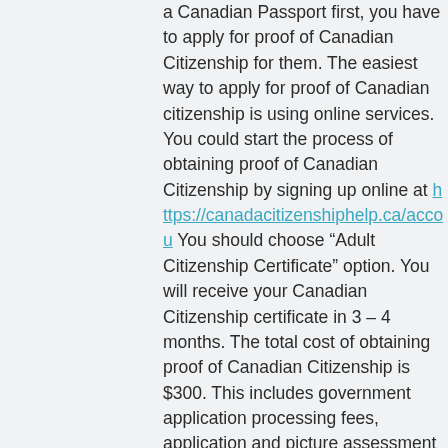a Canadian Passport first, you have to apply for proof of Canadian Citizenship for them. The easiest way to apply for proof of Canadian citizenship is using online services. You could start the process of obtaining proof of Canadian Citizenship by signing up online at https://canadacitizenshiphelp.ca/accou You should choose “Adult Citizenship Certificate” option. You will receive your Canadian Citizenship certificate in 3 – 4 months. The total cost of obtaining proof of Canadian Citizenship is $300. This includes government application processing fees, application and picture assessment and pre-